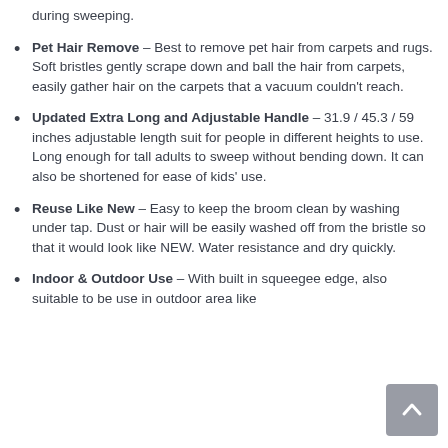during sweeping.
Pet Hair Remove – Best to remove pet hair from carpets and rugs. Soft bristles gently scrape down and ball the hair from carpets, easily gather hair on the carpets that a vacuum couldn't reach.
Updated Extra Long and Adjustable Handle – 31.9 / 45.3 / 59 inches adjustable length suit for people in different heights to use. Long enough for tall adults to sweep without bending down. It can also be shortened for ease of kids' use.
Reuse Like New – Easy to keep the broom clean by washing under tap. Dust or hair will be easily washed off from the bristle so that it would look like NEW. Water resistance and dry quickly.
Indoor & Outdoor Use – With built in squeegee edge, also suitable to be use in outdoor area like